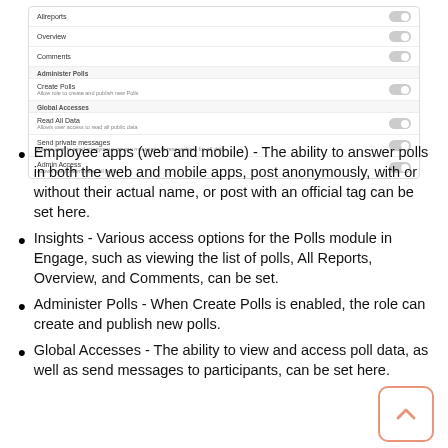[Figure (screenshot): UI settings panel showing toggle switches for: Allreports, Overview, Comments (under Insights section); Create Polls with description 'Allow role to create and publish new Polls' (under Administer Polls section); Read All Data with description, Send private messages with description, Admin Access with description (under Global Accesses section). All toggles appear to be off/disabled.]
Employee apps (web and mobile) - The ability to answer polls in both the web and mobile apps, post anonymously, with or without their actual name, or post with an official tag can be set here.
Insights - Various access options for the Polls module in Engage, such as viewing the list of polls, All Reports, Overview, and Comments, can be set.
Administer Polls - When Create Polls is enabled, the role can create and publish new polls.
Global Accesses - The ability to view and access poll data, as well as send messages to participants, can be set here.